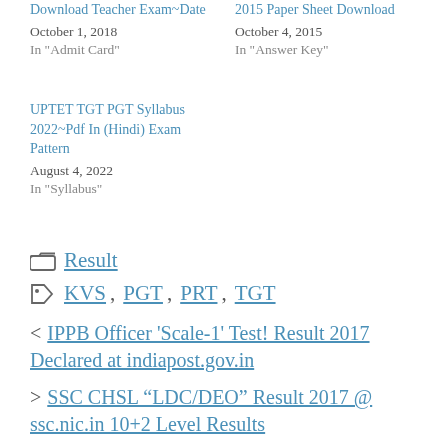Download Teacher Exam~Date
October 1, 2018
In "Admit Card"
2015 Paper Sheet Download
October 4, 2015
In "Answer Key"
UPTET TGT PGT Syllabus 2022~Pdf In (Hindi) Exam Pattern
August 4, 2022
In "Syllabus"
Result
KVS , PGT , PRT , TGT
< IPPB Officer 'Scale-1' Test! Result 2017 Declared at indiapost.gov.in
> SSC CHSL "LDC/DEO" Result 2017 @ ssc.nic.in 10+2 Level Results